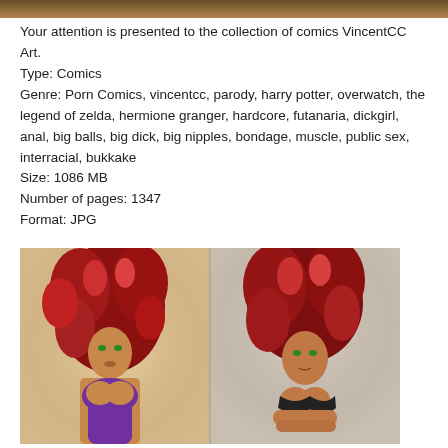[Figure (illustration): Cropped top portion of a comic art banner image]
Your attention is presented to the collection of comics VincentCC Art.
Type: Comics
Genre: Porn Comics, vincentcc, parody, harry potter, overwatch, the legend of zelda, hermione granger, hardcore, futanaria, dickgirl, anal, big balls, big dick, big nipples, bondage, muscle, public sex, interracial, bukkake
Size: 1086 MB
Number of pages: 1347
Format: JPG
[Figure (illustration): Two red-haired comic art female figures side by side, one in purple outfit on left, one in black outfit on right, both with green eyes and dark skin tones]